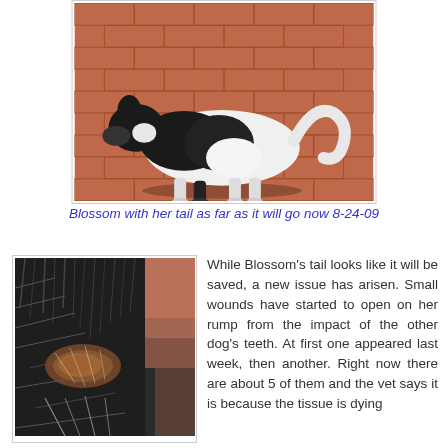[Figure (photo): Black and white dog walking on red brick paving, viewed from the side, tail extended, photographed outdoors.]
Blossom with her tail as far as it will go now 8-24-09
[Figure (photo): Close-up photo of a dog's rump/back area showing dark fur and a wound/lesion on the skin.]
While Blossom's tail looks like it will be saved, a new issue has arisen. Small wounds have started to open on her rump from the impact of the other dog's teeth. At first one appeared last week, then another. Right now there are about 5 of them and the vet says it is because the tissue is dying